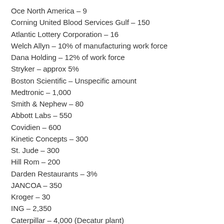Oce North America – 9
Corning United Blood Services Gulf – 150
Atlantic Lottery Corporation – 16
Welch Allyn – 10% of manufacturing work force
Dana Holding – 12% of work force
Stryker – approx 5%
Boston Scientific – Unspecific amount
Medtronic – 1,000
Smith & Nephew – 80
Abbott Labs – 550
Covidien – 600
Kinetic Concepts – 300
St. Jude – 300
Hill Rom – 200
Darden Restaurants – 3%
JANCOA – 350
Kroger – 30
ING – 2,350
Caterpillar – 4,000 (Decatur plant)